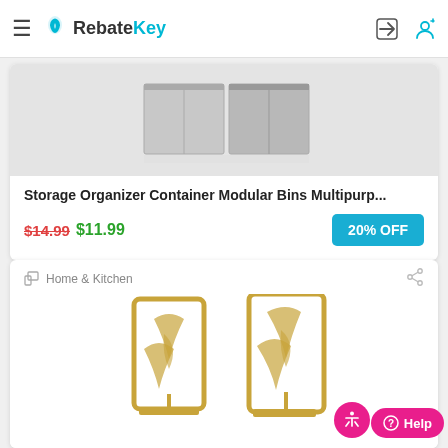RebateKey
[Figure (photo): Storage organizer container product image - metallic modular bins]
Storage Organizer Container Modular Bins Multipurp...
$14.99 $11.99
20% OFF
Home & Kitchen
[Figure (photo): Decorative gold metal bookends with tree/leaf cutout design]